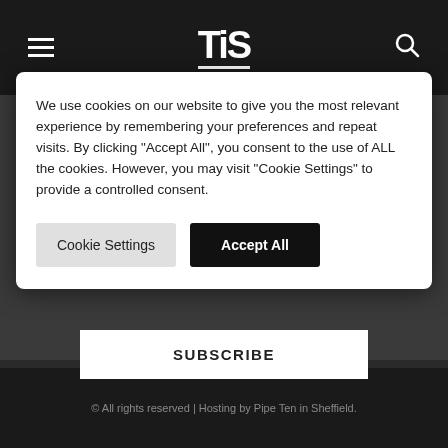TIS navigation header with hamburger menu and search icon
Newsletter Sign Up
We use cookies on our website to give you the most relevant experience by remembering your preferences and repeat visits. By clicking "Accept All", you consent to the use of ALL the cookies. However, you may visit "Cookie Settings" to provide a controlled consent.
Cookie Settings | Accept All
SUBSCRIBE
© All rights reserved | Hosting by Pipe Ten in Sheffield.